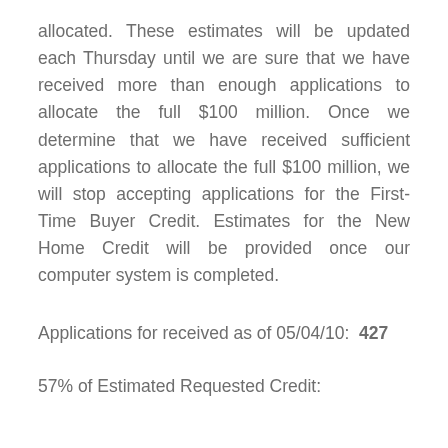allocated. These estimates will be updated each Thursday until we are sure that we have received more than enough applications to allocate the full $100 million. Once we determine that we have received sufficient applications to allocate the full $100 million, we will stop accepting applications for the First-Time Buyer Credit. Estimates for the New Home Credit will be provided once our computer system is completed.
Applications for received as of 05/04/10:  427
57% of Estimated Requested Credit: